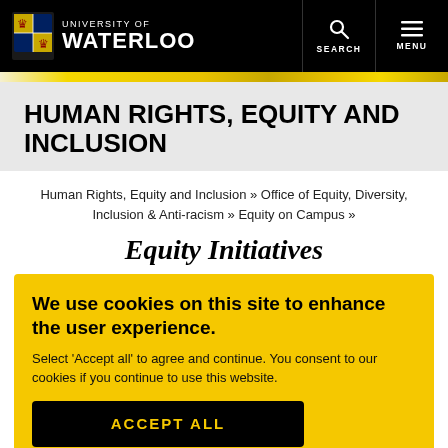[Figure (logo): University of Waterloo logo with shield crest and wordmark on black navigation bar]
HUMAN RIGHTS, EQUITY AND INCLUSION
Human Rights, Equity and Inclusion » Office of Equity, Diversity, Inclusion & Anti-racism » Equity on Campus »
Equity Initiatives
We use cookies on this site to enhance the user experience.
Select 'Accept all' to agree and continue. You consent to our cookies if you continue to use this website.
ACCEPT ALL